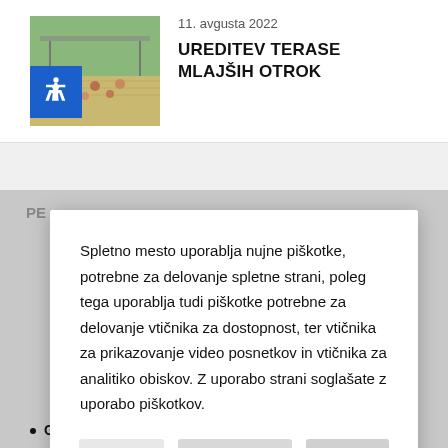11. avgusta 2022
UREDITEV TERASE MLAJŠIH OTROK
[Figure (photo): Photo of children sitting on a wooden floor terrace, outdoor setting with trees in background]
Spletno mesto uporablja nujne piškotke, potrebne za delovanje spletne strani, poleg tega uporablja tudi piškotke potrebne za delovanje vtičnika za dostopnost, ter vtičnika za prikazovanje video posnetkov in vtičnika za analitiko obiskov. Z uporabo strani soglašate z uporabo piškotkov.
GLASBENA ŠOLA